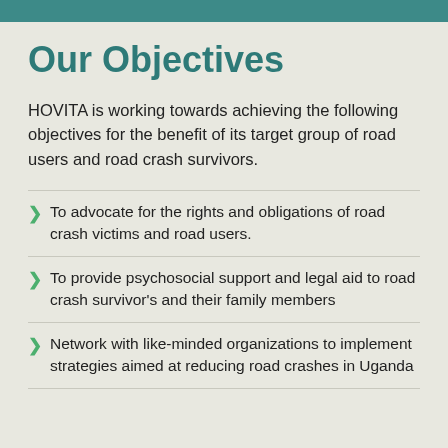Our Objectives
HOVITA is working towards achieving the following objectives for the benefit of its target group of road users and road crash survivors.
To advocate for the rights and obligations of road crash victims and road users.
To provide psychosocial support and legal aid to road crash survivor's and their family members
Network with like-minded organizations to implement strategies aimed at reducing road crashes in Uganda